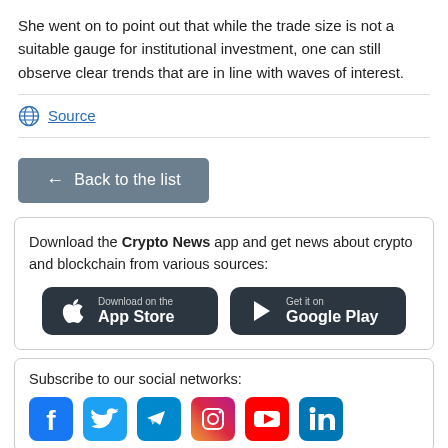She went on to point out that while the trade size is not a suitable gauge for institutional investment, one can still observe clear trends that are in line with waves of interest.
Source
← Back to the list
Download the Crypto News app and get news about crypto and blockchain from various sources:
[Figure (illustration): App Store and Google Play download buttons]
Subscribe to our social networks:
[Figure (illustration): Social media icons: Facebook, Twitter, Telegram, Instagram, YouTube, LinkedIn]